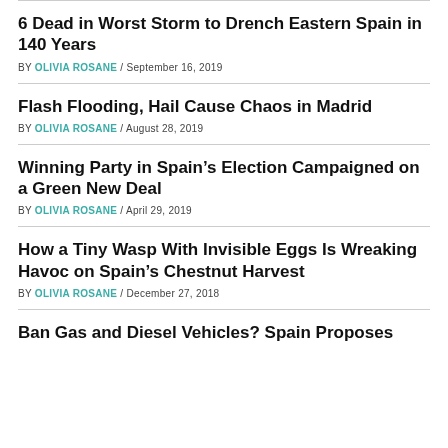6 Dead in Worst Storm to Drench Eastern Spain in 140 Years
BY OLIVIA ROSANE / September 16, 2019
Flash Flooding, Hail Cause Chaos in Madrid
BY OLIVIA ROSANE / August 28, 2019
Winning Party in Spain's Election Campaigned on a Green New Deal
BY OLIVIA ROSANE / April 29, 2019
How a Tiny Wasp With Invisible Eggs Is Wreaking Havoc on Spain's Chestnut Harvest
BY OLIVIA ROSANE / December 27, 2018
Ban Gas and Diesel Vehicles? Spain Proposes